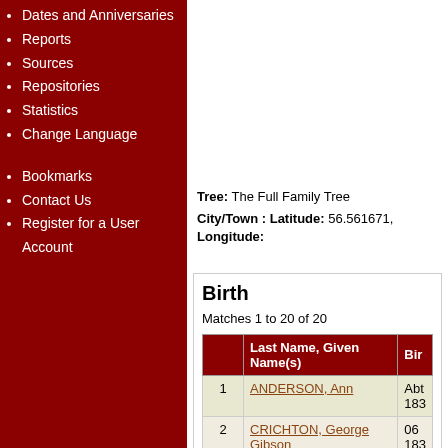Dates and Anniversaries
Reports
Sources
Repositories
Statistics
Change Language
Bookmarks
Contact Us
Register for a User Account
Tree: The Full Family Tree
City/Town : Latitude: 56.561671, Longitude:
Birth
Matches 1 to 20 of 20
|  | Last Name, Given Name(s) | Bir... |
| --- | --- | --- |
| 1 | ANDERSON, Ann | Abt 183... |
| 2 | CRICHTON, George Gibson | 06 183... |